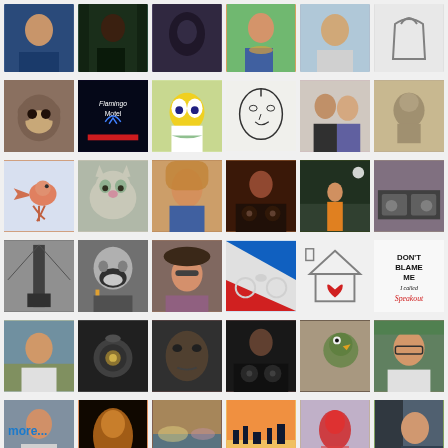[Figure (photo): Grid of 36 profile/avatar photos arranged in 6 rows of 6 columns, showing various people, animals, cartoons, and graphic images]
more...